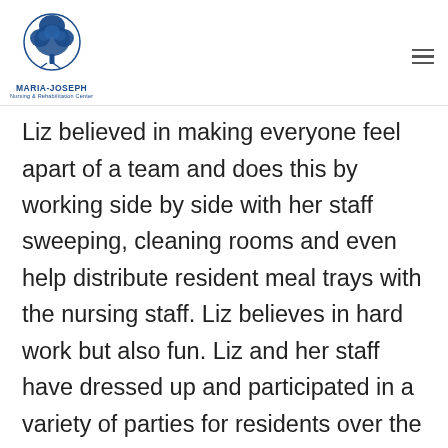MARIA-JOSEPH Nursing & Rehabilitation Center
Liz believed in making everyone feel apart of a team and does this by working side by side with her staff sweeping, cleaning rooms and even help distribute resident meal trays with the nursing staff. Liz believes in hard work but also fun. Liz and her staff have dressed up and participated in a variety of parties for residents over the years, even dressing up like soul train dancers and dancing through the halls to music for all residents to enjoy and participate.